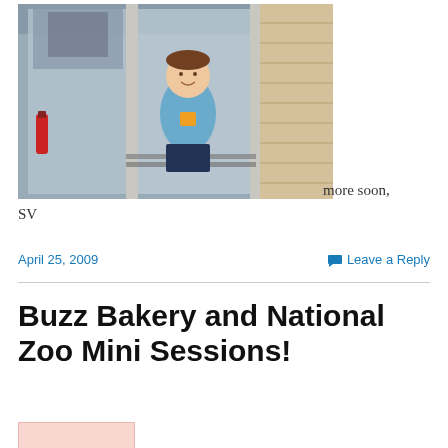[Figure (photo): A young boy in a light blue t-shirt standing in a glass doorway/entrance with metal turnstile bars, with a fire extinguisher visible on the left and brick wall on the right.]
more soon,

SV
April 25, 2009
Leave a Reply
Buzz Bakery and National Zoo Mini Sessions!
[Figure (photo): Partial thumbnail image at bottom, pink/salmon toned.]